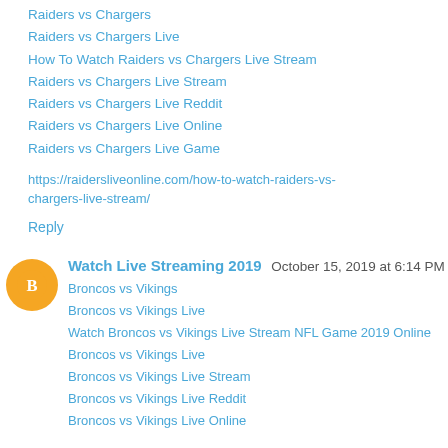Raiders vs Chargers
Raiders vs Chargers Live
How To Watch Raiders vs Chargers Live Stream
Raiders vs Chargers Live Stream
Raiders vs Chargers Live Reddit
Raiders vs Chargers Live Online
Raiders vs Chargers Live Game
https://raidersliveonline.com/how-to-watch-raiders-vs-chargers-live-stream/
Reply
Watch Live Streaming 2019  October 15, 2019 at 6:14 PM
Broncos vs Vikings
Broncos vs Vikings Live
Watch Broncos vs Vikings Live Stream NFL Game 2019 Online
Broncos vs Vikings Live
Broncos vs Vikings Live Stream
Broncos vs Vikings Live Reddit
Broncos vs Vikings Live Online